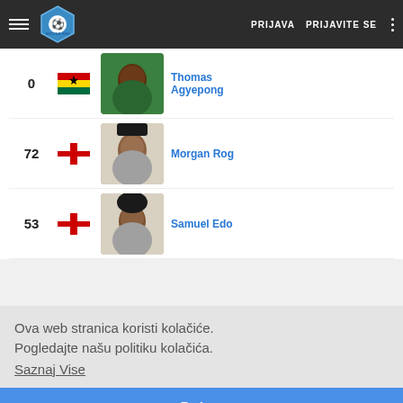Soccer Wiki — PRIJAVA   PRIJAVITE SE
| # | Flag | Photo | Name |
| --- | --- | --- | --- |
| 0 | Ghana | [photo] | Thomas Agyepong |
| 72 | England | [photo] | Morgan Rog... |
| 53 | England | [photo] | Samuel Edo... |
Ova web stranica koristi kolačiće. Pogledajte našu politiku kolačića.
Saznaj Vise
Dobro